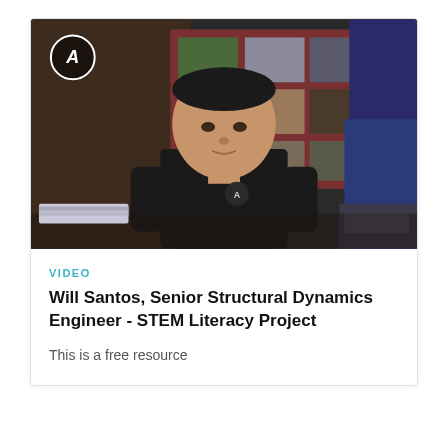[Figure (photo): Video thumbnail showing a man in a black Aerospace t-shirt standing in front of a large screen displaying multiple images, with a blue-lit studio environment in the background. A circular logo (Aerospace) appears in the upper-left corner of the thumbnail.]
VIDEO
Will Santos, Senior Structural Dynamics Engineer - STEM Literacy Project
This is a free resource